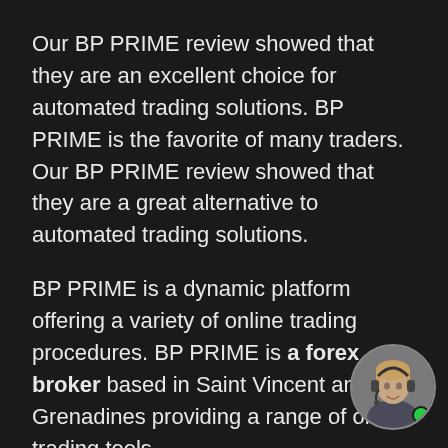Our BP PRIME review showed that they are an excellent choice for automated trading solutions. BP PRIME is the favorite of many traders. Our BP PRIME review showed that they are a great alternative to automated trading solutions.
BP PRIME is a dynamic platform offering a variety of online trading procedures. BP PRIME is a forex broker based in Saint Vincent and the Grenadines providing a range of online trading tools.
BP PRIME also provides excellent trading conditions for elite institutional clients. A good broker provides traders with good services in many standards, including trading tools, deposits and withdrawals, and customer support. You can decide for yourself whether BP PRIME is right for you by looking at the standards
[Figure (photo): Chat support widget showing a customer service representative (woman with headset) in a circular avatar with a green online indicator dot]